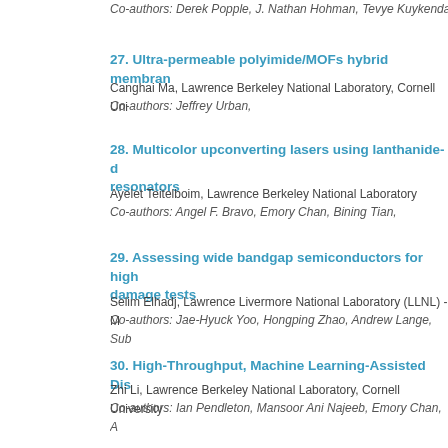Co-authors: Derek Popple, J. Nathan Hohman, Tevye Kuykendal
27. Ultra-permeable polyimide/MOFs hybrid membran
Canghai Ma, Lawrence Berkeley National Laboratory, Cornell Uni
Co-authors: Jeffrey Urban,
28. Multicolor upconverting lasers using lanthanide-d resonators
Ayelet Teitelboim, Lawrence Berkeley National Laboratory
Co-authors: Angel F. Bravo, Emory Chan, Bining Tian,
29. Assessing wide bandgap semiconductors for high damage tests
Selim Elhadj, Lawrence Livermore National Laboratory (LLNL) - M
Co-authors: Jae-Hyuck Yoo, Hongping Zhao, Andrew Lange, Sub
30. High-Throughput, Machine Learning-Assisted Dis
Zhi Li, Lawrence Berkeley National Laboratory, Cornell University
Co-authors: Ian Pendleton, Mansoor Ani Najeeb, Emory Chan, A